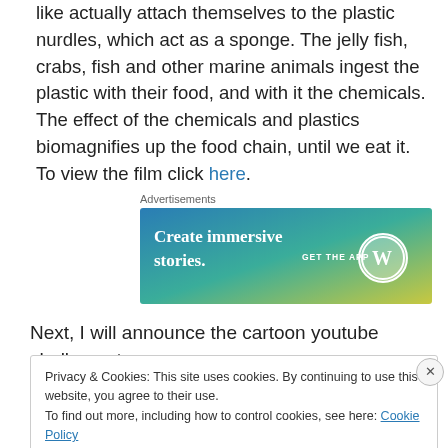like actually attach themselves to the plastic nurdles, which act as a sponge.  The jelly fish, crabs, fish and other marine animals ingest the plastic with their food, and with it the chemicals.  The effect of the chemicals and plastics biomagnifies up the food chain, until we eat it.  To view the film click here.
[Figure (screenshot): WordPress advertisement banner with gradient blue-green-yellow background reading 'Create immersive stories. GET THE APP' with WordPress logo]
Next, I will announce the cartoon youtube challenge to
Privacy & Cookies: This site uses cookies. By continuing to use this website, you agree to their use.
To find out more, including how to control cookies, see here: Cookie Policy